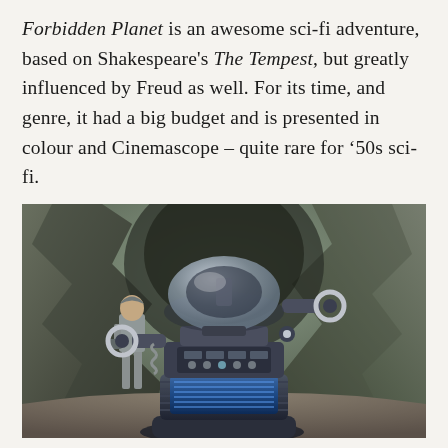Forbidden Planet is an awesome sci-fi adventure, based on Shakespeare's The Tempest, but greatly influenced by Freud as well. For its time, and genre, it had a big budget and is presented in colour and Cinemascope – quite rare for '50s sci-fi.
[Figure (photo): A still from the 1956 film Forbidden Planet showing Robby the Robot in the foreground — a large mechanical robot with a clear dome head, circular eye-like rings on either side, and a ribbed lower torso — with a man in a futuristic uniform standing behind and to the left, set against a rocky cave-like alien landscape.]